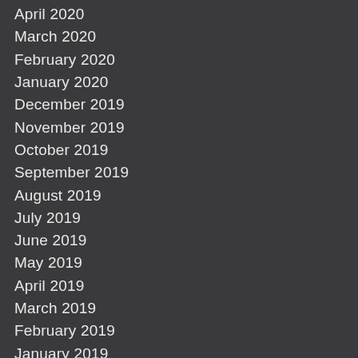April 2020
March 2020
February 2020
January 2020
December 2019
November 2019
October 2019
September 2019
August 2019
July 2019
June 2019
May 2019
April 2019
March 2019
February 2019
January 2019
December 2018
November 2018
October 2018
September 2018
August 2018